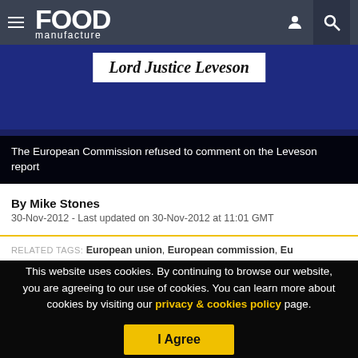FOOD manufacture
[Figure (photo): Sign reading 'Lord Justice Leveson' in italic bold text on a white placard, with blue background. Overlaid caption: 'The European Commission refused to comment on the Leveson report']
The European Commission refused to comment on the Leveson report
By Mike Stones
30-Nov-2012 - Last updated on 30-Nov-2012 at 11:01 GMT
RELATED TAGS: European union, European commission, Eu
This website uses cookies. By continuing to browse our website, you are agreeing to our use of cookies. You can learn more about cookies by visiting our privacy & cookies policy page.